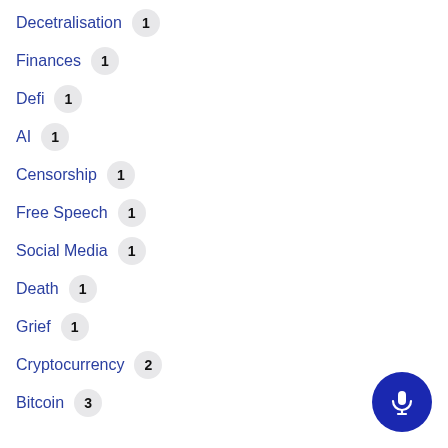Decetralisation 1
Finances 1
Defi 1
AI 1
Censorship 1
Free Speech 1
Social Media 1
Death 1
Grief 1
Cryptocurrency 2
Bitcoin 3